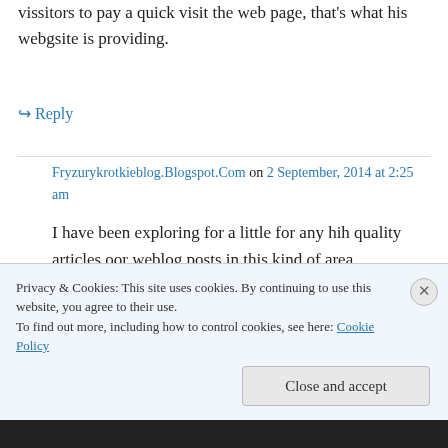vissitors to pay a quick visit the web page, that's what his webgsite is providing.
↪ Reply
Fryzurykrotkieblog.Blogspot.Com on 2 September, 2014 at 2:25 am
I have been exploring for a little for any hih quality articles oor weblog posts in this kind of area . Exploring in Yahoo I at last stumbled upon this
Privacy & Cookies: This site uses cookies. By continuing to use this website, you agree to their use.
To find out more, including how to control cookies, see here: Cookie Policy
Close and accept